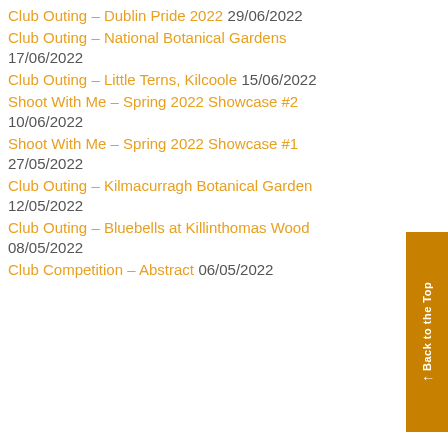Club Outing – Dublin Pride 2022 29/06/2022
Club Outing – National Botanical Gardens 17/06/2022
Club Outing – Little Terns, Kilcoole 15/06/2022
Shoot With Me – Spring 2022 Showcase #2 10/06/2022
Shoot With Me – Spring 2022 Showcase #1 27/05/2022
Club Outing – Kilmacurragh Botanical Gardens 12/05/2022
Club Outing – Bluebells at Killinthomas Wood 08/05/2022
Club Competition – Abstract 06/05/2022